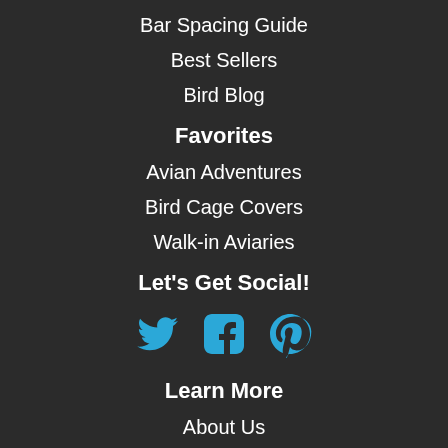Bar Spacing Guide
Best Sellers
Bird Blog
Favorites
Avian Adventures
Bird Cage Covers
Walk-in Aviaries
Let's Get Social!
[Figure (infographic): Social media icons: Twitter (bird), Facebook (f), Pinterest (P) in blue]
Learn More
About Us
Contact Us
Shipping & Returns